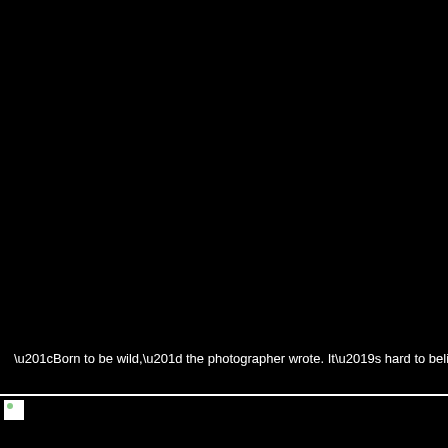[Figure (photo): Large black photo area occupying the top portion of the page]
“Born to be wild,” the photographer wrote. It’s hard to believe people used to dum
[Figure (photo): Second photo area at the bottom, mostly black with a broken image icon in the top-left corner]